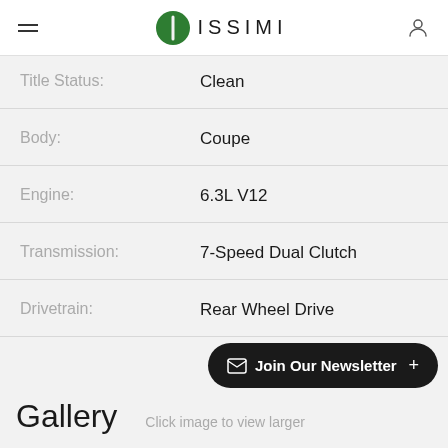ISSIMI
Title Status: Clean
Body: Coupe
Engine: 6.3L V12
Transmission: 7-Speed Dual Clutch
Drivetrain: Rear Wheel Drive
Join Our Newsletter +
Gallery   Click image to view larger